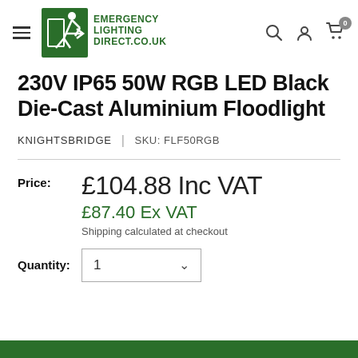Emergency Lighting Direct - emergencylightingdirect.co.uk
230V IP65 50W RGB LED Black Die-Cast Aluminium Floodlight
KNIGHTSBRIDGE | SKU: FLF50RGB
Price: £104.88 Inc VAT  £87.40 Ex VAT  Shipping calculated at checkout
Quantity: 1